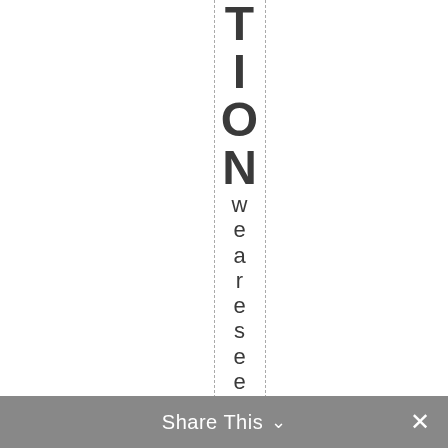TION We are seeking work that
Share This ∨  ✕